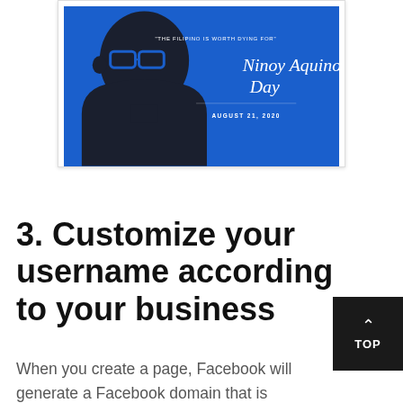[Figure (illustration): Ninoy Aquino Day graphic with blue background showing a stylized silhouette portrait of Ninoy Aquino wearing glasses. White text reads: "THE FILIPINO IS WORTH DYING FOR" in small caps above a script font reading 'Ninoy Aquino Day', and below 'AUGUST 21, 2020'.]
3. Customize your username according to your business
When you create a page, Facebook will generate a Facebook domain that is